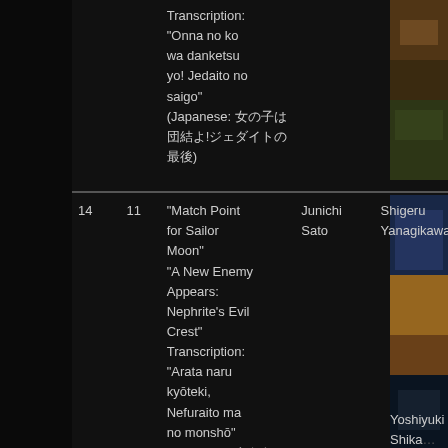| No. | Ep. | Title | Writer | Director | Animator | Image |
| --- | --- | --- | --- | --- | --- | --- |
|  |  | Transcription: "Onna no ko wa danketsu yo! Jedaito no saigo" (Japanese: 女の子は団結よ！ジェダイトの最後) |  |  |  |  |
| 14 | 11 | "Match Point for Sailor Moon"
"A New Enemy Appears: Nephrite's Evil Crest"
Transcription: "Arata naru kyōteki, Nefuraito ma no monshō" (Japanese: あらなる強敵、... | Junichi Sato | Shigeru Yanagikawa | Yoshiyuki Shika... |  |